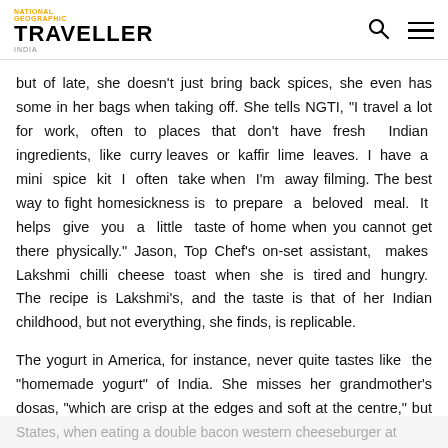National Geographic TRAVELLER India
but of late, she doesn't just bring back spices, she even has some in her bags when taking off. She tells NGTI, "I travel a lot for work, often to places that don't have fresh Indian ingredients, like curry leaves or kaffir lime leaves. I have a mini spice kit I often take when I'm away filming. The best way to fight homesickness is to prepare a beloved meal. It helps give you a little taste of home when you cannot get there physically." Jason, Top Chef's on-set assistant, makes Lakshmi chilli cheese toast when she is tired and hungry. The recipe is Lakshmi's, and the taste is that of her Indian childhood, but not everything, she finds, is replicable.
The yogurt in America, for instance, never quite tastes like the "homemade yogurt" of India. She misses her grandmother's dosas, "which are crisp at the edges and soft at the centre," but when asked what is the one dish she longs to eat each time she
States, when eating a double bacon western cheeseburger at